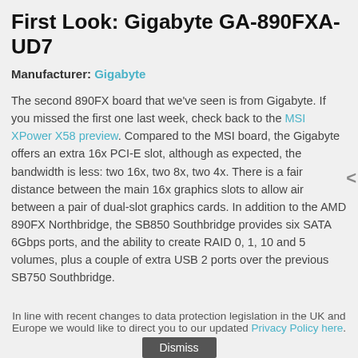First Look: Gigabyte GA-890FXA-UD7
Manufacturer: Gigabyte
The second 890FX board that we've seen is from Gigabyte. If you missed the first one last week, check back to the MSI XPower X58 preview. Compared to the MSI board, the Gigabyte offers an extra 16x PCI-E slot, although as expected, the bandwidth is less: two 16x, two 8x, two 4x. There is a fair distance between the main 16x graphics slots to allow air between a pair of dual-slot graphics cards. In addition to the AMD 890FX Northbridge, the SB850 Southbridge provides six SATA 6Gbps ports, and the ability to create RAID 0, 1, 10 and 5 volumes, plus a couple of extra USB 2 ports over the previous SB750 Southbridge.
In line with recent changes to data protection legislation in the UK and Europe we would like to direct you to our updated Privacy Policy here.
Dismiss